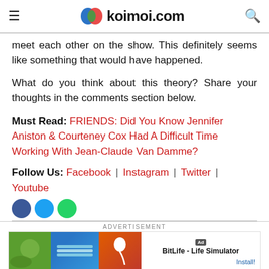koimoi.com
meet each other on the show. This definitely seems like something that would have happened.
What do you think about this theory? Share your thoughts in the comments section below.
Must Read: FRIENDS: Did You Know Jennifer Aniston & Courteney Cox Had A Difficult Time Working With Jean-Claude Van Damme?
Follow Us: Facebook | Instagram | Twitter | Youtube
[Figure (other): Advertisement banner for BitLife - Life Simulator app with install button]